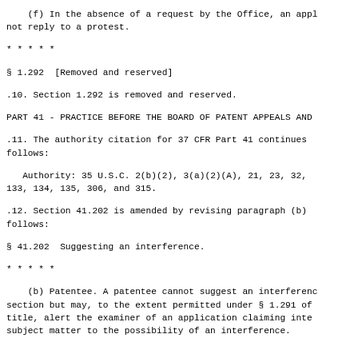(f) In the absence of a request by the Office, an appl
not reply to a protest.
* * * * *
§ 1.292  [Removed and reserved]
.10. Section 1.292 is removed and reserved.
PART 41 - PRACTICE BEFORE THE BOARD OF PATENT APPEALS AND
.11. The authority citation for 37 CFR Part 41 continues
follows:
Authority: 35 U.S.C. 2(b)(2), 3(a)(2)(A), 21, 23, 32,
133, 134, 135, 306, and 315.
.12. Section 41.202 is amended by revising paragraph (b)
follows:
§ 41.202  Suggesting an interference.
* * * * *
(b) Patentee. A patentee cannot suggest an interferenc
section but may, to the extent permitted under § 1.291 of
title, alert the examiner of an application claiming inte
subject matter to the possibility of an interference.